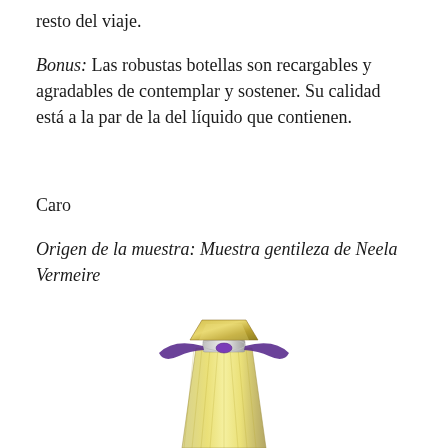resto del viaje.
Bonus: Las robustas botellas son recargables y agradables de contemplar y sostener. Su calidad está a la par de la del líquido que contienen.
Caro
Origen de la muestra: Muestra gentileza de Neela Vermeire
[Figure (photo): A perfume bottle with a gold cap, crystal-cut glass body containing yellow liquid, decorated with a purple ribbon tied in a bow around the neck.]